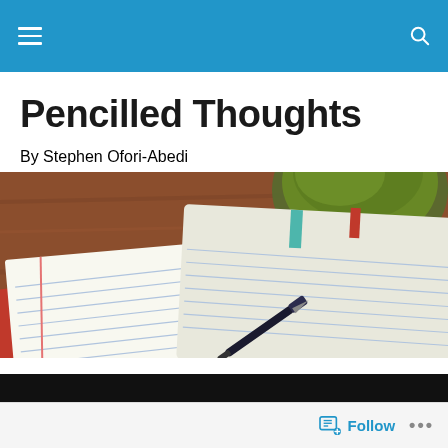Navigation bar with hamburger menu and search icon
Pencilled Thoughts
By Stephen Ofori-Abedi
[Figure (photo): Overhead photo of an open red notebook with lined pages, a fountain pen resting on it, and a green bowl in the upper right corner on a wooden table surface.]
An honorable life
Follow  •••